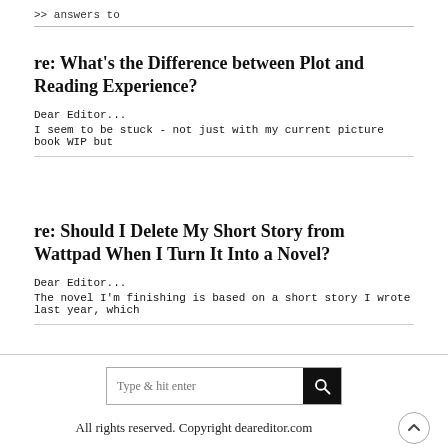>> answers to
re: What's the Difference between Plot and Reading Experience?
Dear Editor...
I seem to be stuck - not just with my current picture book WIP but
re: Should I Delete My Short Story from Wattpad When I Turn It Into a Novel?
Dear Editor...
The novel I'm finishing is based on a short story I wrote last year, which
All rights reserved. Copyright deareditor.com